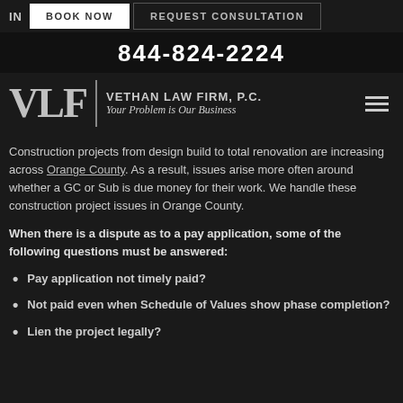BOOK NOW | REQUEST CONSULTATION
844-824-2224
VLF | VETHAN LAW FIRM, P.C. Your Problem is Our Business
Construction projects from design build to total renovation are increasing across Orange County. As a result, issues arise more often around whether a GC or Sub is due money for their work. We handle these construction project issues in Orange County.
When there is a dispute as to a pay application, some of the following questions must be answered:
Pay application not timely paid?
Not paid even when Schedule of Values show phase completion?
Lien the project legally?